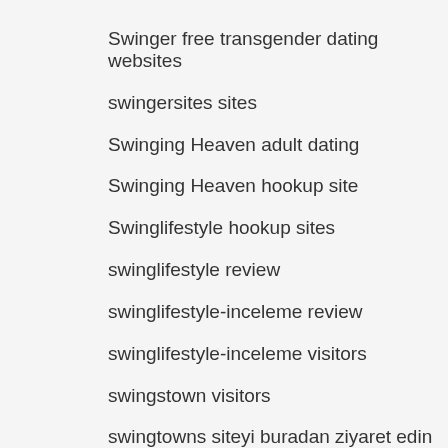Swinger free transgender dating websites
swingersites sites
Swinging Heaven adult dating
Swinging Heaven hookup site
Swinglifestyle hookup sites
swinglifestyle review
swinglifestyle-inceleme review
swinglifestyle-inceleme visitors
swingstown visitors
swingtowns siteyi buradan ziyaret edin
swingtowns vymazat